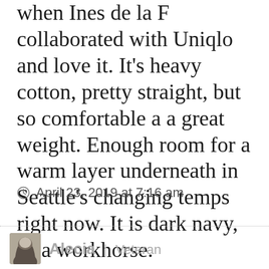when Ines de la F collaborated with Uniqlo and love it. It's heavy cotton, pretty straight, but so comfortable a a great weight. Enough room for a warm layer underneath in Seattle's changing temps right now. It is dark navy, so a workhorse.
April 23, 2019 at 7:16 am
[Figure (photo): Small grayscale avatar photo of a person with blonde hair]
Alecia | Veteran